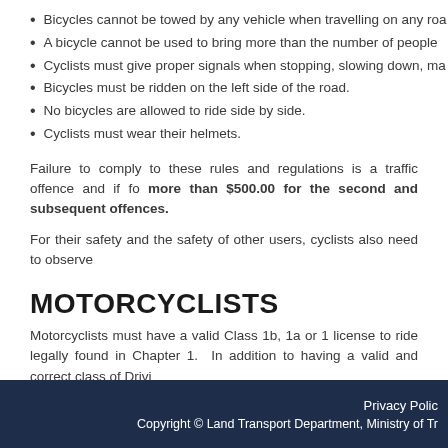Bicycles cannot be towed by any vehicle when travelling on any roa...
A bicycle cannot be used to bring more than the number of people...
Cyclists must give proper signals when stopping, slowing down, ma...
Bicycles must be ridden on the left side of the road.
No bicycles are allowed to ride side by side.
Cyclists must wear their helmets.
Failure to comply to these rules and regulations is a traffic offence and if fo... more than $500.00 for the second and subsequent offences.
For their safety and the safety of other users, cyclists also need to observe...
MOTORCYCLISTS
Motorcyclists must have a valid Class 1b, 1a or 1 license to ride legally... found in Chapter 1.  In addition to having a valid and correct class of Drivi...
Privacy Polic... Copyright © Land Transport Department, Ministry of Tr...